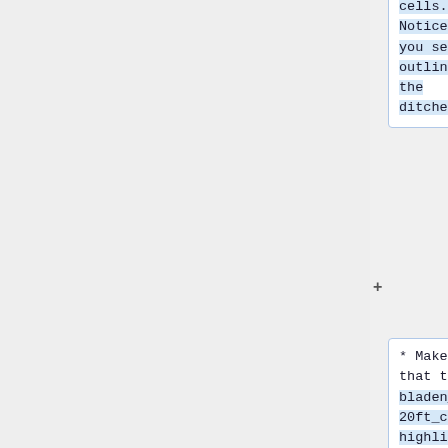cells. Notice how you see the outlines of the ditches.
* Make sure that the bladen_test_20ft_ch is highlighted
* Click on the Query selected raster/vector button (4th from the left in the display window)